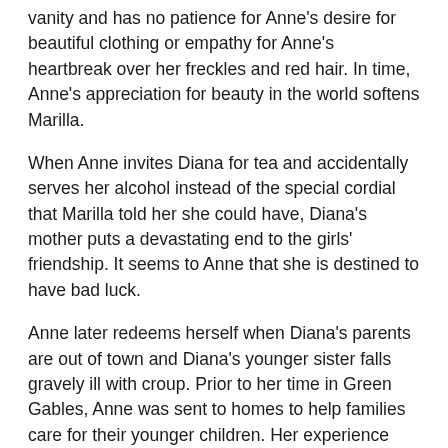vanity and has no patience for Anne's desire for beautiful clothing or empathy for Anne's heartbreak over her freckles and red hair. In time, Anne's appreciation for beauty in the world softens Marilla.
When Anne invites Diana for tea and accidentally serves her alcohol instead of the special cordial that Marilla told her she could have, Diana's mother puts a devastating end to the girls' friendship. It seems to Anne that she is destined to have bad luck.
Anne later redeems herself when Diana's parents are out of town and Diana's younger sister falls gravely ill with croup. Prior to her time in Green Gables, Anne was sent to homes to help families care for their younger children. Her experience taking care of young babies with croup saves the life of Diana's younger sister, and her parents are eternally grateful. They see Anne in a new light and offer their blessing to the girls' friendship.